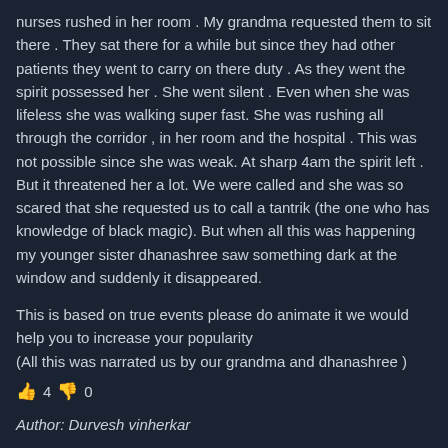nurses rushed in her room . My grandma requested them to sit there . They sat there for a while but since they had other patients they went to carry on there duty . As they went the spirit possessed her . She went silent . Even when she was lifeless she was walking super fast. She was rushing all through the corridor , in her room and the hospital . This was not possible since she was weak. At sharp 4am the spirit left . But it threatened her a lot. We were called and she was so scared that she requested us to call a tantrik (the one who has knowledge of black magic). But when all this was happening my younger sister dhanashree saw something dark at the window and suddenly it disappeared.
This is based on true events please do animate it we would help you to increase your popularity
(All this was narrated us by our grandma and dhanashree )
👍 4  👎 0
Author: Durvesh vinherkar